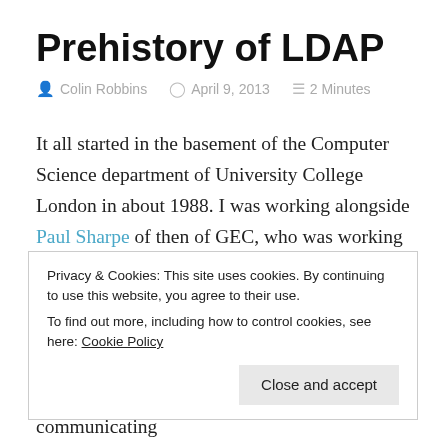Prehistory of LDAP
Colin Robbins   April 9, 2013   2 Minutes
It all started in the basement of the Computer Science department of University College London in about 1988. I was working alongside Paul Sharpe of then of GEC, who was working on user agents on the Thorn project.
At the time I was implementing DISH – a directory user
Privacy & Cookies: This site uses cookies. By continuing to use this website, you agree to their use.
To find out more, including how to control cookies, see here: Cookie Policy
by using a background process, and communicating